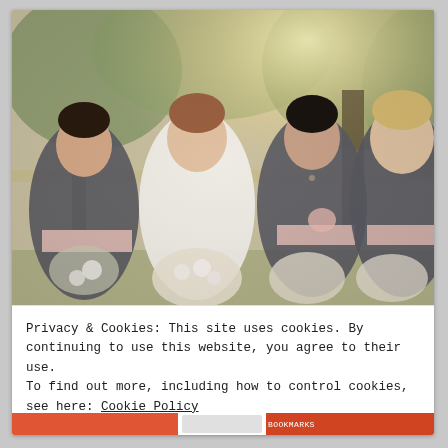[Figure (photo): Four bridesmaids and bride standing outdoors in garden setting. Three bridesmaids wear strapless gray dresses with pink sashes and hold white floral bouquets. The bride in the center wears a white strapless gown. Background shows trees and greenery with warm sunlight.]
Privacy & Cookies: This site uses cookies. By continuing to use this website, you agree to their use.
To find out more, including how to control cookies, see here: Cookie Policy
Close and accept